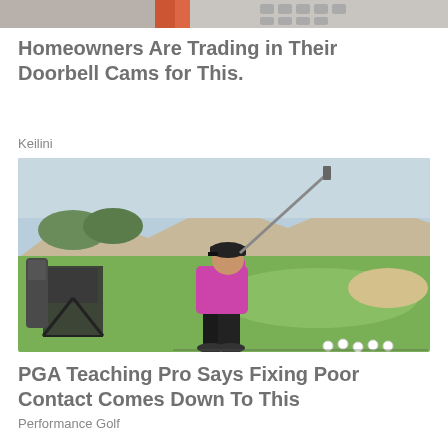[Figure (photo): Partial top image showing orange/red object and what appears to be a keyboard or device — cropped at top of page]
Homeowners Are Trading in Their Doorbell Cams for This.
Keilini
[Figure (photo): A golfer in a pink/magenta shirt and black cap and pants is shown mid-swing on a sunny golf course, with mountains in background, a folding chair and golf bag on the left, and several golf balls on the ground to the right]
PGA Teaching Pro Says Fixing Poor Contact Comes Down To This
Performance Golf
[Figure (photo): Partial bottom image showing dark teal/green textured surface with what appears to be a golf shoe or club — cropped at bottom of page]